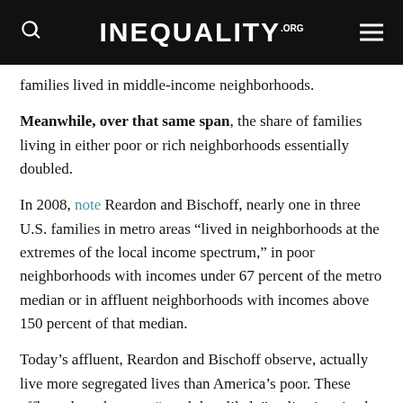INEQUALITY.ORG
families lived in middle-income neighborhoods.
Meanwhile, over that same span, the share of families living in either poor or rich neighborhoods essentially doubled.
In 2008, note Reardon and Bischoff, nearly one in three U.S. families in metro areas “lived in neighborhoods at the extremes of the local income spectrum,” in poor neighborhoods with incomes under 67 percent of the metro median or in affluent neighborhoods with incomes above 150 percent of that median.
Today’s affluent, Reardon and Bischoff observe, actually live more segregated lives than America’s poor. These affluent have become “much less likely” to live in mixed-income neighborhoods than poor families.